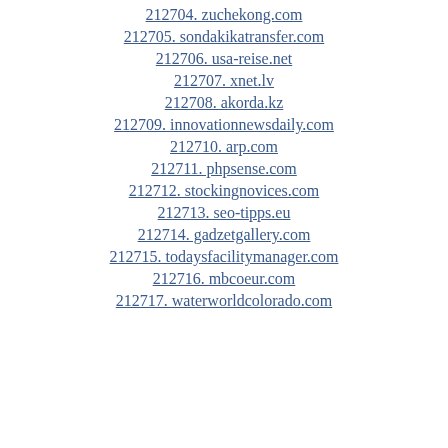212704. zuchekong.com
212705. sondakikatransfer.com
212706. usa-reise.net
212707. xnet.lv
212708. akorda.kz
212709. innovationnewsdaily.com
212710. arp.com
212711. phpsense.com
212712. stockingnovices.com
212713. seo-tipps.eu
212714. gadzetgallery.com
212715. todaysfacilitymanager.com
212716. mbcoeur.com
212717. waterworldcolorado.com